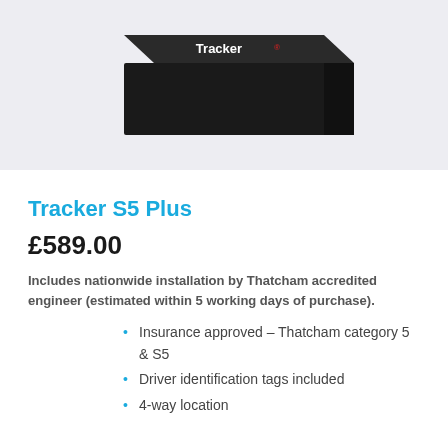[Figure (photo): Product photo of a black Tracker device box with 'Tracker' branding on a light grey/white background]
Tracker S5 Plus
£589.00
Includes nationwide installation by Thatcham accredited engineer (estimated within 5 working days of purchase).
Insurance approved – Thatcham category 5 & S5
Driver identification tags included
4-way location